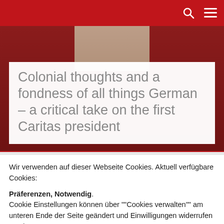[Red navigation bar with search and menu icons]
[Figure (photo): Hero image area with dark red background and partial view of a person in a beige/tan shirt, overlaid with white title box]
Colonial thoughts and a fondness of all things German – a critical take on the first Caritas president
Wir verwenden auf dieser Webseite Cookies. Aktuell verfügbare Cookies:
Präferenzen, Notwendig. Cookie Einstellungen können über ""Cookies verwalten"" am unteren Ende der Seite geändert und Einwilligungen widerrufen werden.
Ok
Ablehnen
Mehr erfahren.......